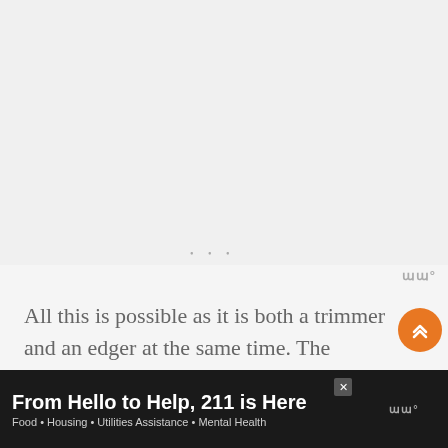[Figure (other): Large gray/white placeholder image area occupying the upper portion of the page]
ɯɯ°
All this is possible as it is both a trimmer and an edger at the same time. The conversion from one mode to another takes only a few seconds.
[Figure (other): Orange circular scroll-to-top button with double chevron up arrow]
[Figure (other): Advertisement banner: 'From Hello to Help, 211 is Here' with subtitle 'Food • Housing • Utilities Assistance • Mental Health' on dark background with close button and logo]